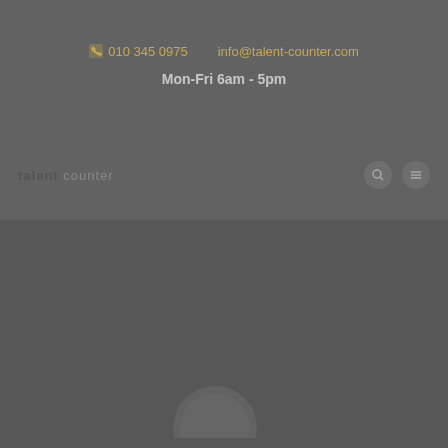010 345 0975  info@talent-ounter.com  Mon-Fri 6am - 5pm
[Figure (logo): Website header with logo text, search and menu icons on navigation bar]
[Figure (photo): Dark grey website hero/banner section below navigation bar, with partial circular logo/image at bottom]